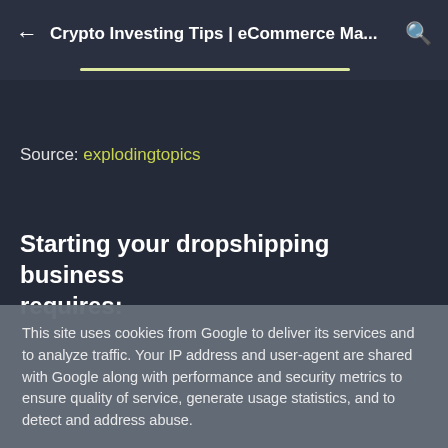Crypto Investing Tips | eCommerce Ma...
Source: explodingtopics
Starting your dropshipping business requires:
This site uses cookies from Google to deliver its services and to analyze traffic. Your IP address and user-agent are shared with Google along with performance and security metrics to ensure quality of service, generate usage statistics, and to detect and address abuse.
LEARN MORE   OK